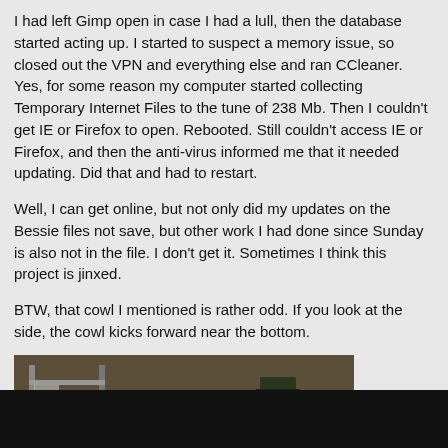I had left Gimp open in case I had a lull, then the database started acting up. I started to suspect a memory issue, so closed out the VPN and everything else and ran CCleaner. Yes, for some reason my computer started collecting Temporary Internet Files to the tune of 238 Mb. Then I couldn't get IE or Firefox to open. Rebooted. Still couldn't access IE or Firefox, and then the anti-virus informed me that it needed updating. Did that and had to restart.
Well, I can get online, but not only did my updates on the Bessie files not save, but other work I had done since Sunday is also not in the file. I don't get it. Sometimes I think this project is jinxed.
BTW, that cowl I mentioned is rather odd. If you look at the side, the cowl kicks forward near the bottom.
[Figure (photo): A vintage or classic car scene in what appears to be a garage or workshop. A man in military-style green uniform with a cap and sunglasses stands next to a vehicle. There is yellow/green fabric or covering on part of the car. Metal shelving and industrial equipment visible in the background.]